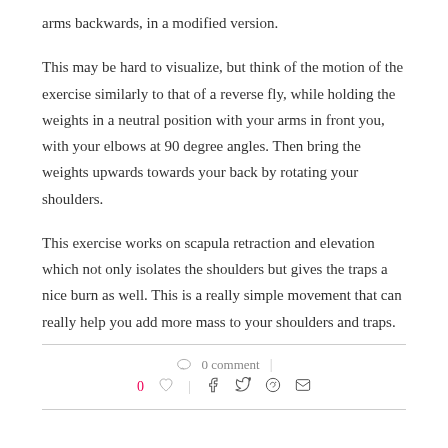arms backwards, in a modified version.
This may be hard to visualize, but think of the motion of the exercise similarly to that of a reverse fly, while holding the weights in a neutral position with your arms in front you, with your elbows at 90 degree angles. Then bring the weights upwards towards your back by rotating your shoulders.
This exercise works on scapula retraction and elevation which not only isolates the shoulders but gives the traps a nice burn as well. This is a really simple movement that can really help you add more mass to your shoulders and traps.
0 comment | 0 likes | share icons (facebook, twitter, pinterest, email)